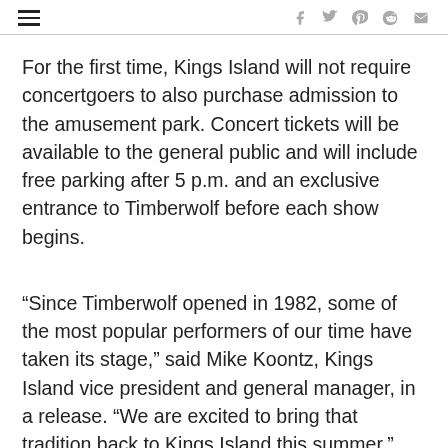social share icons and hamburger menu
For the first time, Kings Island will not require concertgoers to also purchase admission to the amusement park. Concert tickets will be available to the general public and will include free parking after 5 p.m. and an exclusive entrance to Timberwolf before each show begins.
“Since Timberwolf opened in 1982, some of the most popular performers of our time have taken its stage,” said Mike Koontz, Kings Island vice president and general manager, in a release. “We are excited to bring that tradition back to Kings Island this summer.”